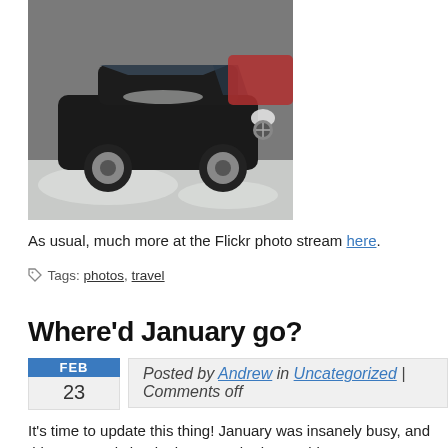[Figure (photo): A black Mercedes-Benz SUV parked on a snowy surface, viewed from a slightly elevated front angle. A red vehicle is partially visible in the background.]
As usual, much more at the Flickr photo stream here.
Tags: photos, travel
Where'd January go?
Posted by Andrew in Uncategorized | Comments off
It's time to update this thing! January was insanely busy, and things are only beginning to settle down a bit.
Writing-wise, I was off to a good start, working on some new short stories ea... Year. Unfortunately work got busy fast, with long hours and an unexpected t... for two weeks! One weekend I did a brief tour of the city and went to the Ba... see some castles, so I can't complain too much. I'll post another entry with p...
Ever since getting back home I've been devoting most of my spare time to w...